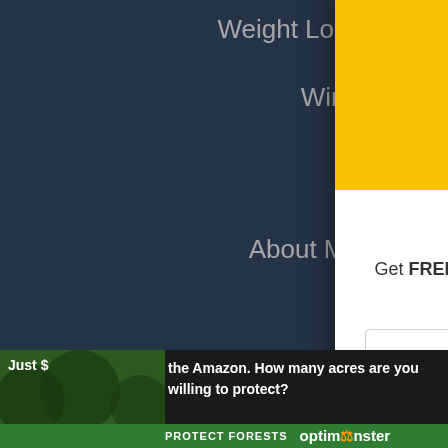Weight Loss
Wine
About Me
Pr...
Pinter...
© 2022 Mak...
[Figure (screenshot): White box showing TOOLKIT product image on yellow background]
The ULTIMATE Affiliate Program Toolkit
Get FREE access to my affiliate program toolkit and see the top 28 profitable affiliate programs to join!
Enter your name here...
Enter your email address here...
Yes! Send Me The FREE PDF
[Figure (screenshot): optinmonster advertisement banner at bottom: Just $... the Amazon. How many acres are you willing to protect? PROTECT FORESTS optinmonster]